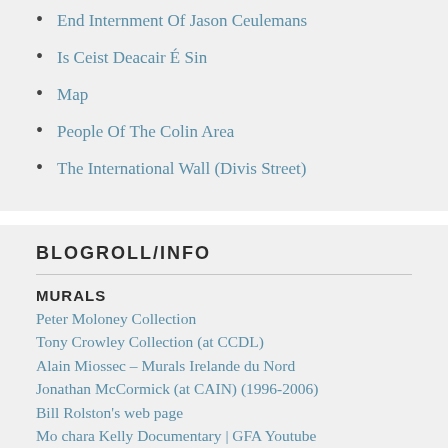End Internment Of Jason Ceulemans
Is Ceist Deacair É Sin
Map
People Of The Colin Area
The International Wall (Divis Street)
BLOGROLL/INFO
MURALS
Peter Moloney Collection
Tony Crowley Collection (at CCDL)
Alain Miossec – Murals Irelande du Nord
Jonathan McCormick (at CAIN) (1996-2006)
Bill Rolston's web page
Mo chara Kelly Documentary | GFA Youtube
Devenny/Ervine Documentary
BBC Arts introduction to murals, with Bill Rolston